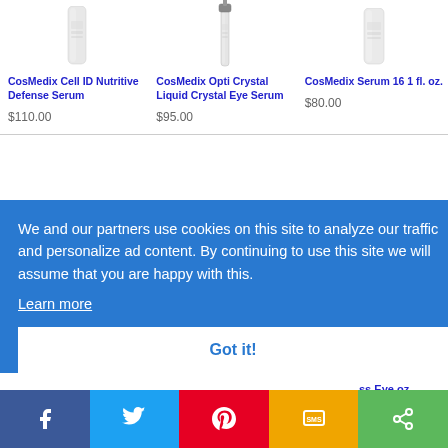[Figure (photo): Product image: CosMedix Cell ID Nutritive Defense Serum bottle (white/silver cylindrical bottle)]
CosMedix Cell ID Nutritive Defense Serum
$110.00
[Figure (photo): Product image: CosMedix Opti Crystal Liquid Crystal Eye Serum bottle (slim silver pump bottle)]
CosMedix Opti Crystal Liquid Crystal Eye Serum
$95.00
[Figure (photo): Product image: CosMedix Serum 16 1 fl. oz. bottle (white cylindrical bottle)]
CosMedix Serum 16 1 fl. oz.
$80.00
We and our partners use cookies on this site to analyze our traffic and personalize ad content. By continuing to use this site we will assume that you are happy with this.
Learn more
Got it!
ss Eye
oz